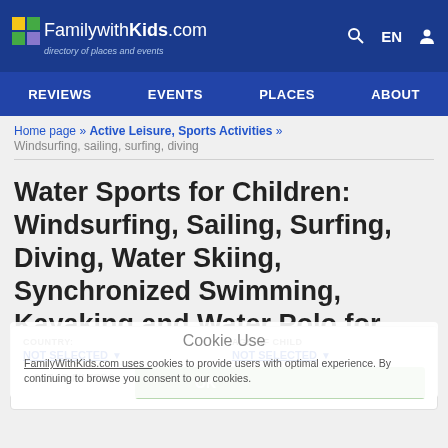FamilywithKids.com — directory of places and events | REVIEWS | EVENTS | PLACES | ABOUT
Home page » Active Leisure, Sports Activities » Windsurfing, sailing, surfing, diving
Water Sports for Children: Windsurfing, Sailing, Surfing, Diving, Water Skiing, Synchronized Swimming, Kayaking and Water Polo for Kids
COUNTRY: NOT SELECTED ▼   AGE OF CHILD: NOT SELECTED ▼
Cookie Use
FamilyWithKids.com uses cookies to provide users with optimal experience. By continuing to browse you consent to our cookies.
CLEAR FILTERS    OK